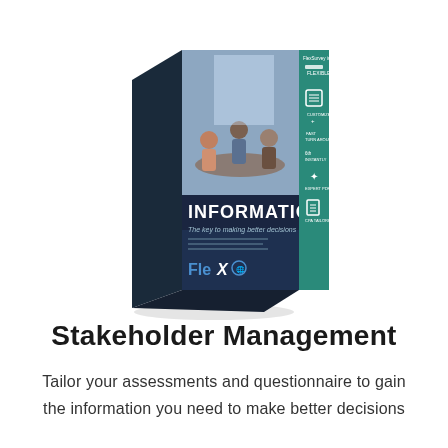[Figure (illustration): A 3D book/box product mockup showing a business textbook titled 'INFORMATION: The key to making better decisions' with a FleX logo. The cover shows people sitting around a meeting table in an office setting. The right spine of the box has teal/green color with icons and text labels.]
Stakeholder Management
Tailor your assessments and questionnaire to gain the information you need to make better decisions